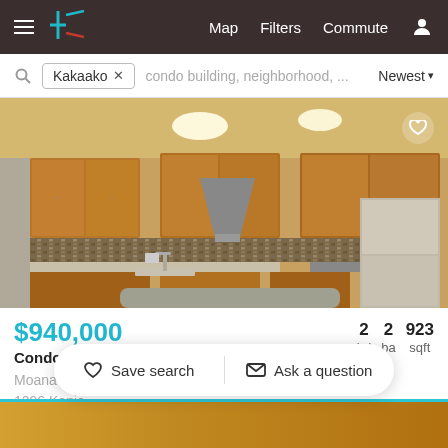≡  [logo]  Map  Filters  Commute  [user icon]
Kakaako ×  condo building, neighborhood, ...  Newest ▾
[Figure (photo): Interior kitchen photo showing wood cabinets, stainless steel appliances, range hood, mosaic tile backsplash, and a kitchen island with gray countertop]
$940,000
Condo for sale
2 bd  2 ba  923 sqft
Moana Pa...
1296 Kapio...
Neighborhood: Kakaako
♡ Save search   ✉ Ask a question